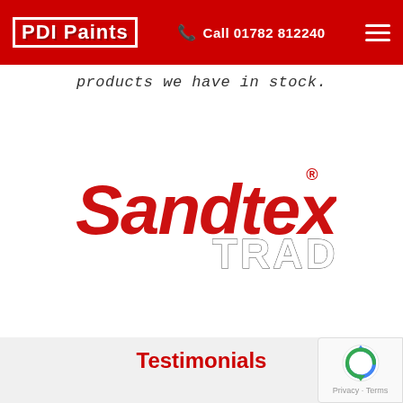PDI Paints | Call 01782 812240
products we have in stock.
[Figure (logo): Sandtex Trade logo — 'Sandtex' in large red italic bold font with registered trademark symbol, 'TRADE' in white bold letters with grey/dark outline below]
Testimonials
Don't just take our word for it, see what our customers are saying about us!